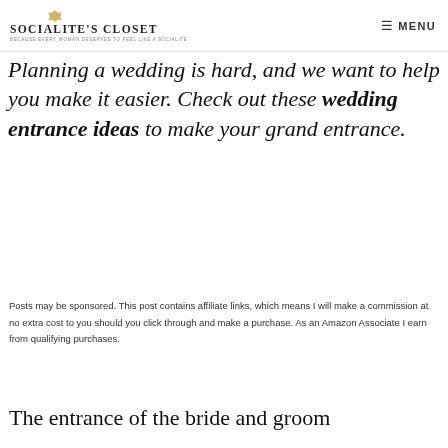Socialite's Closet — MENU
Planning a wedding is hard, and we want to help you make it easier. Check out these wedding entrance ideas to make your grand entrance.
Posts may be sponsored. This post contains affiliate links, which means I will make a commission at no extra cost to you should you click through and make a purchase. As an Amazon Associate I earn from qualifying purchases.
The entrance of the bride and groom